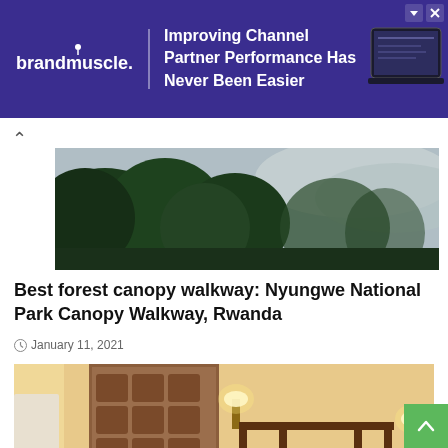[Figure (infographic): brandmuscle ad banner with purple background. Logo on left, text 'Improving Channel Partner Performance Has Never Been Easier', laptop image on right.]
[Figure (photo): Forest canopy with trees and misty sky in Rwanda national park]
Best forest canopy walkway: Nyungwe National Park Canopy Walkway, Rwanda
January 11, 2021
[Figure (photo): Elegant hotel room interior with ornate four-poster bed, wooden carved wall panel, warm lighting and small round table with flowers at Beldi Country Club, Morocco]
Best hotel for families – Beldi Country Club, Morocco